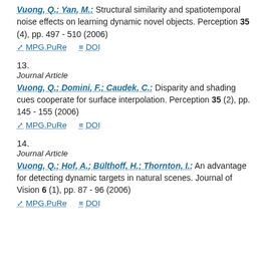Vuong, Q.; Yan, M.: Structural similarity and spatiotemporal noise effects on learning dynamic novel objects. Perception 35 (4), pp. 497 - 510 (2006)
MPG.PuRe  DOI
13.
Journal Article
Vuong, Q.; Domini, F.; Caudek, C.: Disparity and shading cues cooperate for surface interpolation. Perception 35 (2), pp. 145 - 155 (2006)
MPG.PuRe  DOI
14.
Journal Article
Vuong, Q.; Hof, A.; Bülthoff, H.; Thornton, I.: An advantage for detecting dynamic targets in natural scenes. Journal of Vision 6 (1), pp. 87 - 96 (2006)
MPG.PuRe  DOI